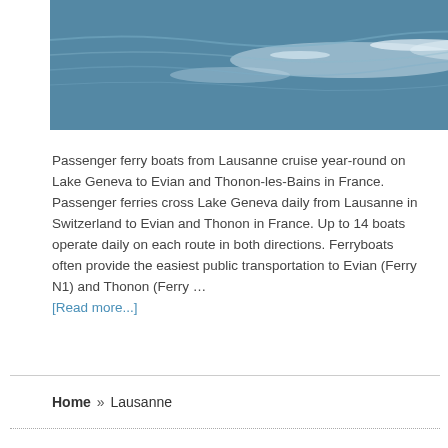[Figure (photo): Aerial or water-level photo of Lake Geneva with choppy blue water and glinting sunlight, partial view of a dark structure at top right corner.]
Passenger ferry boats from Lausanne cruise year-round on Lake Geneva to Evian and Thonon-les-Bains in France. Passenger ferries cross Lake Geneva daily from Lausanne in Switzerland to Evian and Thonon in France. Up to 14 boats operate daily on each route in both directions. Ferryboats often provide the easiest public transportation to Evian (Ferry N1) and Thonon (Ferry … [Read more...]
Home » Lausanne